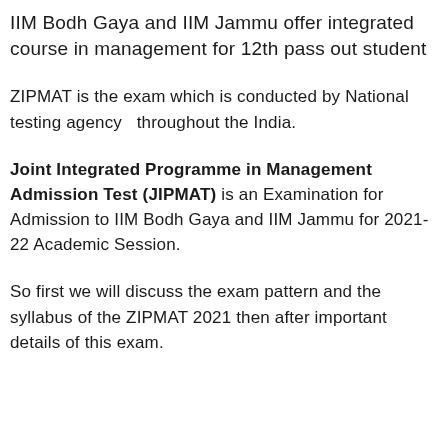IIM Bodh Gaya and IIM Jammu offer integrated course in management for 12th pass out student
ZIPMAT is the exam which is conducted by National testing agency  throughout the India.
Joint Integrated Programme in Management Admission Test (JIPMAT) is an Examination for Admission to IIM Bodh Gaya and IIM Jammu for 2021-22 Academic Session.
So first we will discuss the exam pattern and the syllabus of the ZIPMAT 2021 then after important details of this exam.